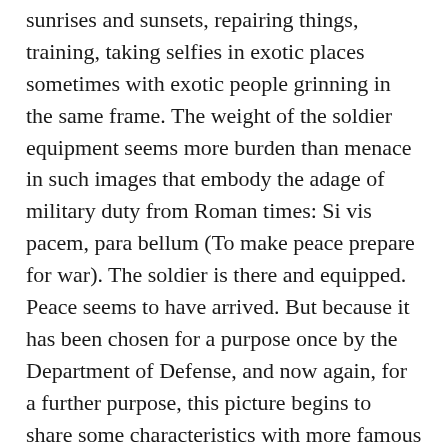sunrises and sunsets, repairing things, training, taking selfies in exotic places sometimes with exotic people grinning in the same frame. The weight of the soldier equipment seems more burden than menace in such images that embody the adage of military duty from Roman times: Si vis pacem, para bellum (To make peace prepare for war). The soldier is there and equipped. Peace seems to have arrived. But because it has been chosen for a purpose once by the Department of Defense, and now again, for a further purpose, this picture begins to share some characteristics with more famous photographs discussed in some of these articles.
The manipulation and deployment of photographic images to the point that they move beyond their paper and chemical origins to have a life as icon or memory with healing or wounding power are the subject of this issue of Arts and War of Peace Review. The changes to that process brought about by digital photography are important to several articles as well. This photograph, that probably has never existed on